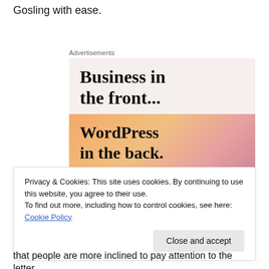Gosling with ease.
[Figure (illustration): Advertisement block with two sections: top gray section reading 'Business in the front...' and bottom colorful gradient (orange/pink) section reading 'WordPress in the back.']
Privacy & Cookies: This site uses cookies. By continuing to use this website, you agree to their use.
To find out more, including how to control cookies, see here: Cookie Policy
that people are more inclined to pay attention to the letter